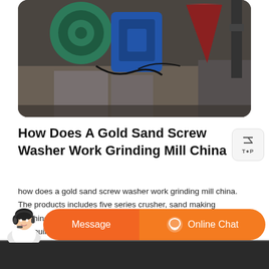[Figure (photo): Industrial machinery photo showing large green, blue, and red/maroon crushing or grinding mill equipment in a factory setting]
How Does A Gold Sand Screw Washer Work Grinding Mill China
how does a gold sand screw washer work grinding mill china. The products includes five series crusher, sand making machine, powder grinding mill, mineral processing equipment and building materials equipment.Gold Processing Extraction Smelting Plant Design .gold ore prominer maintains a team of senior gold processing engineers with expertise and global experience.
[Figure (photo): Customer service representative chat bar with Message and Online Chat buttons in orange]
[Figure (photo): Bottom strip showing additional content partially visible]